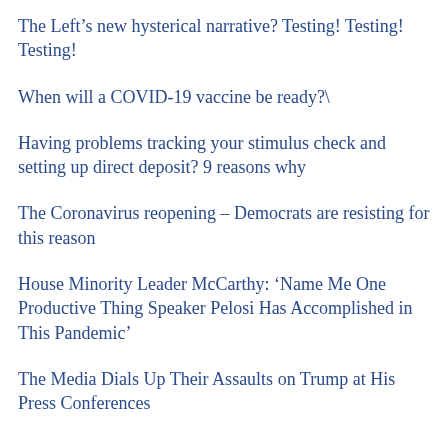The Left’s new hysterical narrative? Testing! Testing! Testing!
When will a COVID-19 vaccine be ready?\
Having problems tracking your stimulus check and setting up direct deposit? 9 reasons why
The Coronavirus reopening – Democrats are resisting for this reason
House Minority Leader McCarthy: ‘Name Me One Productive Thing Speaker Pelosi Has Accomplished in This Pandemic’
The Media Dials Up Their Assaults on Trump at His Press Conferences